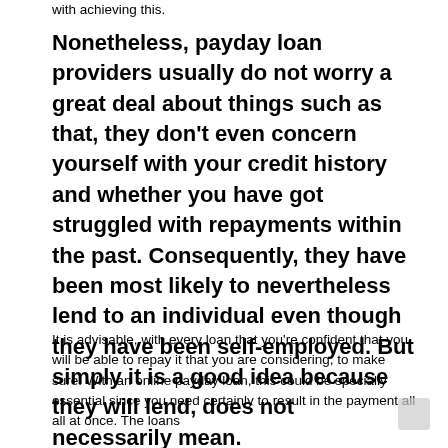with achieving this.
Nonetheless, payday loan providers usually do not worry a great deal about things such as that, they don't even concern yourself with your credit history and whether you have got struggled with repayments within the past. Consequently, they have been most likely to nevertheless lend to an individual even though they have been self-employed. But simply it is a good idea because they will lend, does not necessarily mean.
It is advisable, with every loan that you're confident that you will be able to repay it that you are considering, to make sure. With an online payday loan, this could be specially essential since you need certainly to result in the payment all all at once. The loans